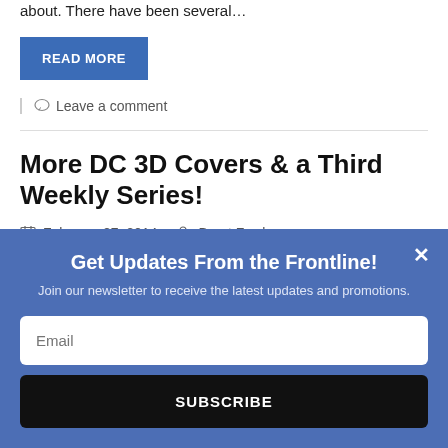about. There have been several...
READ MORE
Leave a comment
More DC 3D Covers & a Third Weekly Series!
February 27, 2014   Brant Fowler
DC Comics is starting to roll out the news and plans for this year's big event,
Get Updates From the Frontline!
Join our newsletter to receive the latest updates and promotions.
Email
SUBSCRIBE